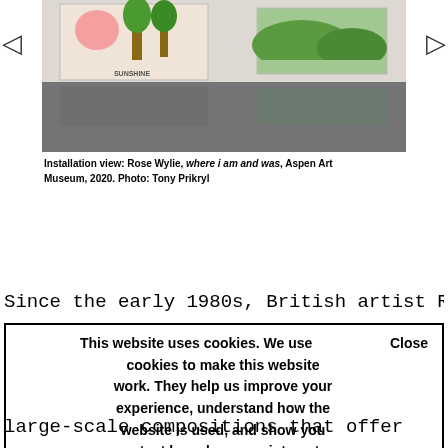[Figure (photo): Installation view of Rose Wylie artworks on a gallery wall, showing two paintings hung on a white wall above a reflective floor. Navigation arrows on left and right sides.]
Installation view: Rose Wylie, where i am and was, Aspen Art Museum, 2020. Photo: Tony Prikryl
Since the early 1980s, British artist Rose
This website uses cookies. We use cookies to make this website work. They help us improve your experience, understand how the website is used, and show you content based on your interests. Close
large-scale compositions that offer